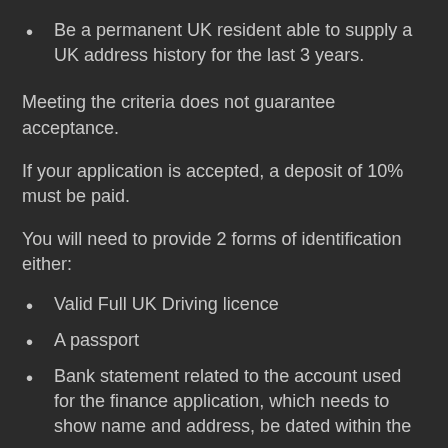Be a permanent UK resident able to supply a UK address history for the last 3 years.
Meeting the criteria does not guarantee acceptance.
If your application is accepted, a deposit of 10% must be paid.
You will need to provide 2 forms of identification either:
Valid Full UK Driving licence
A passport
Bank statement related to the account used for the finance application, which needs to show name and address, be dated within the